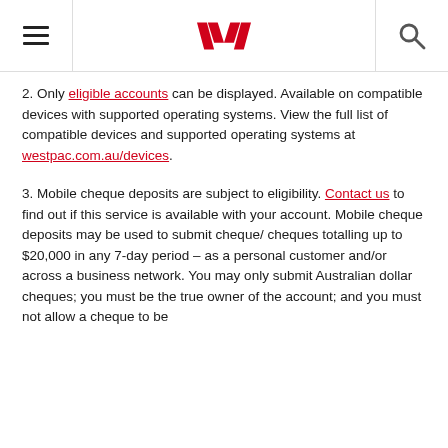Westpac header navigation
2. Only eligible accounts can be displayed. Available on compatible devices with supported operating systems. View the full list of compatible devices and supported operating systems at westpac.com.au/devices.
3. Mobile cheque deposits are subject to eligibility. Contact us to find out if this service is available with your account. Mobile cheque deposits may be used to submit cheque/ cheques totalling up to $20,000 in any 7-day period – as a personal customer and/or across a business network. You may only submit Australian dollar cheques; you must be the true owner of the account; and you must not allow a cheque to be